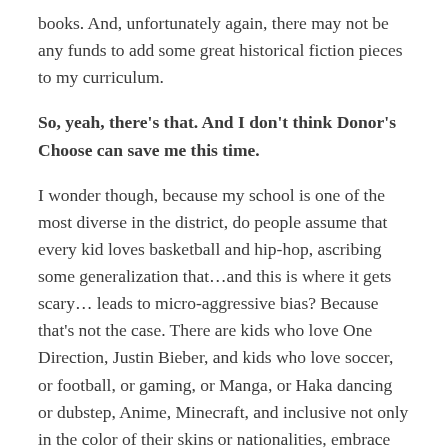books. And, unfortunately again, there may not be any funds to add some great historical fiction pieces to my curriculum.
So, yeah, there's that. And I don't think Donor's Choose can save me this time.
I wonder though, because my school is one of the most diverse in the district, do people assume that every kid loves basketball and hip-hop, ascribing some generalization that…and this is where it gets scary… leads to micro-aggressive bias? Because that's not the case. There are kids who love One Direction, Justin Bieber, and kids who love soccer, or football, or gaming, or Manga, or Haka dancing or dubstep, Anime, Minecraft, and inclusive not only in the color of their skins or nationalities, embrace things that are purely, sparkly, what being an American teenager is now. They like stuff,